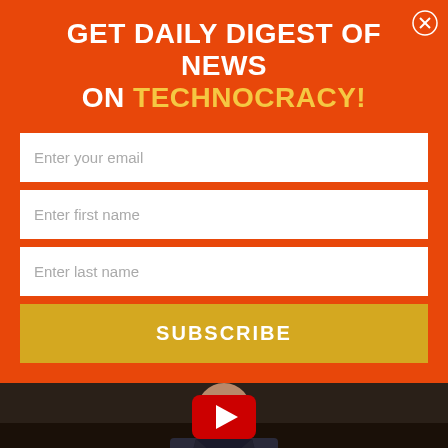GET DAILY DIGEST OF NEWS ON TECHNOCRACY!
Enter your email
Enter first name
Enter last name
SUBSCRIBE
[Figure (screenshot): YouTube video thumbnail showing a man in a suit with a red YouTube play button overlay. Title reads: TECHNOCRACY RISING INTERVIEW, Trilaterals, Agenda 21, & the TPP w/ Patrick Wood. TRAGEDYHOPE logo visible in bottom right.]